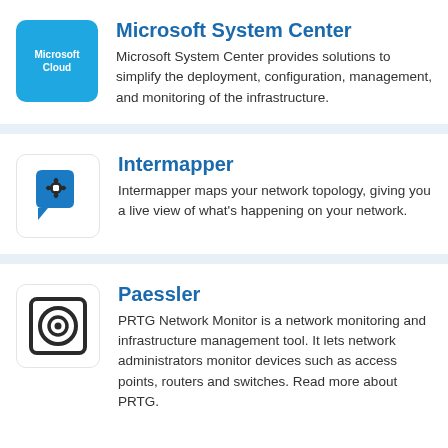[Figure (logo): Microsoft Cloud logo: blue square with white text 'Microsoft Cloud']
Microsoft System Center
Microsoft System Center provides solutions to simplify the deployment, configuration, management, and monitoring of the infrastructure.
[Figure (logo): Intermapper logo: blue speech bubble with gear icon]
Intermapper
Intermapper maps your network topology, giving you a live view of what's happening on your network.
[Figure (logo): Paessler logo: circular eye/camera icon in dark outline]
Paessler
PRTG Network Monitor is a network monitoring and infrastructure management tool. It lets network administrators monitor devices such as access points, routers and switches. Read more about PRTG.